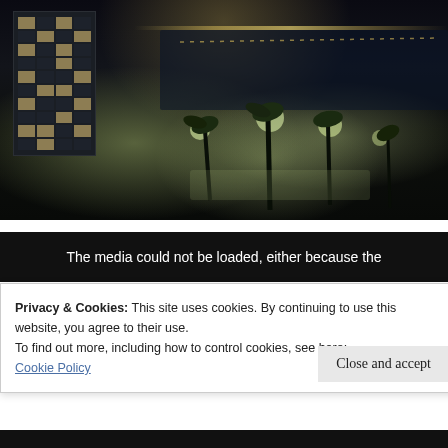[Figure (photo): Aerial night photograph of a coastal city scene showing a multi-story building on the left, palm trees and a lit promenade/park area in the center, and a body of water with distant lights on the horizon in the background.]
The media could not be loaded, either because the
Privacy & Cookies: This site uses cookies. By continuing to use this website, you agree to their use.
To find out more, including how to control cookies, see here:
Cookie Policy
Close and accept